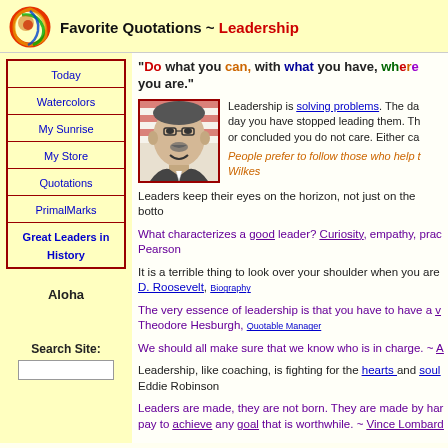Favorite Quotations ~ Leadership
Today
Watercolors
My Sunrise
My Store
Quotations
PrimalMarks
Great Leaders in History
Aloha
Search Site:
"Do what you can, with what you have, where you are."
[Figure (photo): Black and white photo of a man smiling, wearing glasses, with American flag in background]
Leadership is solving problems. The day you have stopped leading them. The day they think they have found a solution, or concluded you do not care. Either ca...
People prefer to follow those who help t... Wilkes
Leaders keep their eyes on the horizon, not just on the botto...
What characterizes a good leader? Curiosity, empathy, prac... Pearson
It is a terrible thing to look over your shoulder when you are... D. Roosevelt, Biography
The very essence of leadership is that you have to have a v... Theodore Hesburgh, Quotable Manager
We should all make sure that we know who is in charge. ~ A...
Leadership, like coaching, is fighting for the hearts and soul... Eddie Robinson
Leaders are made, they are not born. They are made by har... pay to achieve any goal that is worthwhile. ~ Vince Lombard...